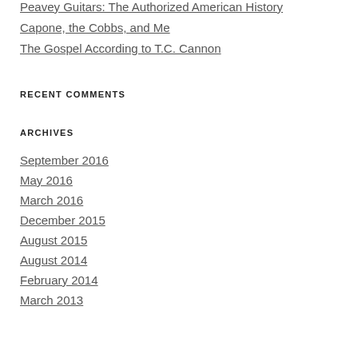Peavey Guitars: The Authorized American History
Capone, the Cobbs, and Me
The Gospel According to T.C. Cannon
RECENT COMMENTS
ARCHIVES
September 2016
May 2016
March 2016
December 2015
August 2015
August 2014
February 2014
March 2013